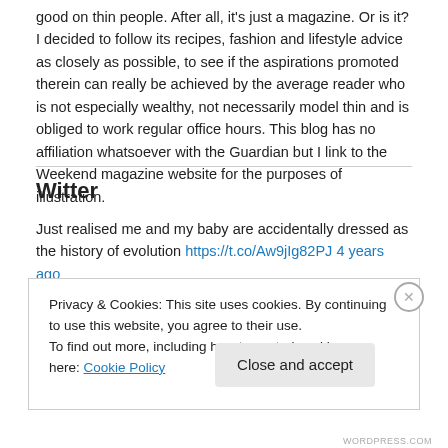good on thin people. After all, it's just a magazine. Or is it? I decided to follow its recipes, fashion and lifestyle advice as closely as possible, to see if the aspirations promoted therein can really be achieved by the average reader who is not especially wealthy, not necessarily model thin and is obliged to work regular office hours. This blog has no affiliation whatsoever with the Guardian but I link to the Weekend magazine website for the purposes of illustration.
Witter
Just realised me and my baby are accidentally dressed as the history of evolution https://t.co/Aw9jIg82PJ 4 years ago
Privacy & Cookies: This site uses cookies. By continuing to use this website, you agree to their use.
To find out more, including how to control cookies, see here: Cookie Policy
WORDPRESS.COM